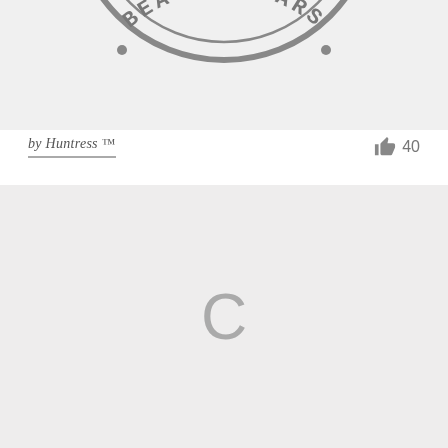[Figure (photo): Top portion of an image showing a circular stamp/seal with text 'BEAUTY STARS' (mirrored/reversed) on a light gray background. Only the bottom arc of the stamp is visible.]
by Huntress ™
40
[Figure (other): A light gray placeholder image area showing a loading spinner 'C' symbol in the center, indicating an image that has not yet loaded.]